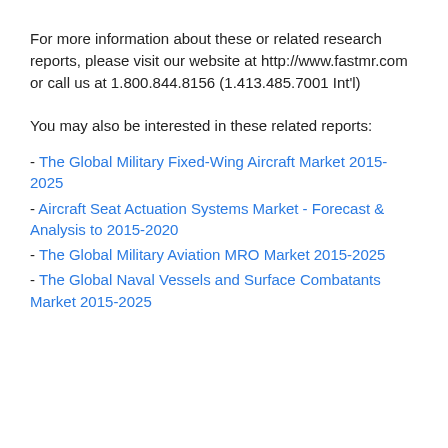For more information about these or related research reports, please visit our website at http://www.fastmr.com or call us at 1.800.844.8156 (1.413.485.7001 Int'l)
You may also be interested in these related reports:
- The Global Military Fixed-Wing Aircraft Market 2015-2025
- Aircraft Seat Actuation Systems Market - Forecast & Analysis to 2015-2020
- The Global Military Aviation MRO Market 2015-2025
- The Global Naval Vessels and Surface Combatants Market 2015-2025